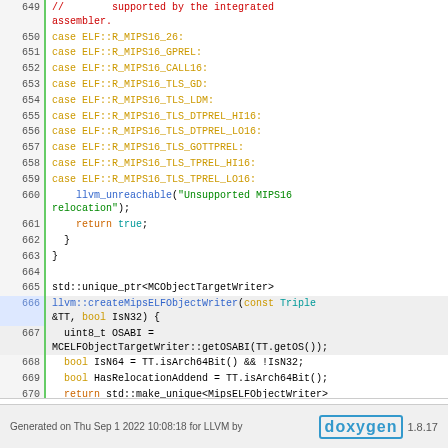[Figure (screenshot): Source code viewer showing lines 649-672 of LLVM MIPS ELF object writer C++ code with syntax highlighting. Lines show case statements for MIPS16 relocation types and the createMipsELFObjectWriter function implementation.]
Generated on Thu Sep 1 2022 10:08:18 for LLVM by doxygen 1.8.17